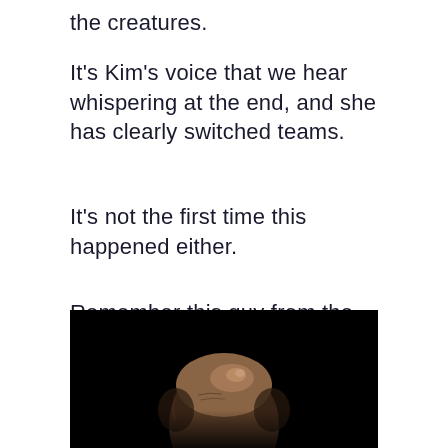the creatures.
It’s Kim’s voice that we hear whispering at the end, and she has clearly switched teams.
It’s not the first time this happened either.
Remember this guy from the start of the movie?
[Figure (photo): Dark cinematic still showing the top of a bald man’s head illuminated from above against a near-black background.]